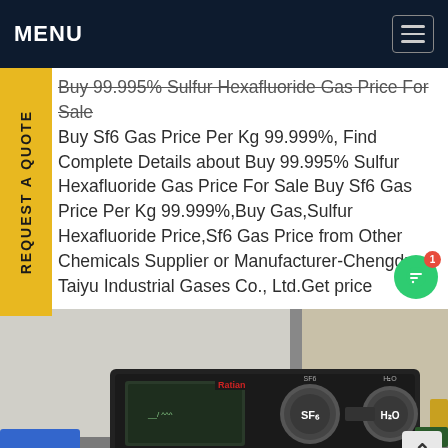MENU
Buy 99.995% Sulfur Hexafluoride Gas Price For Sale Buy Sf6 Gas Price Per Kg 99.999%, Find Complete Details about Buy 99.995% Sulfur Hexafluoride Gas Price For Sale Buy Sf6 Gas Price Per Kg 99.999%,Buy Gas,Sulfur Hexafluoride Price,Sf6 Gas Price from Other Chemicals Supplier or Manufacturer-Chengdu Taiyu Industrial Gases Co., Ltd.Get price
[Figure (photo): Photo of an SF6 gas analyzer device with display screen and labeled dials for SF6 and H2O gases on a laboratory bench]